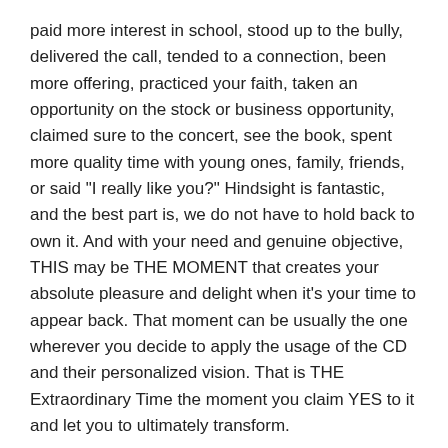paid more interest in school, stood up to the bully, delivered the call, tended to a connection, been more offering, practiced your faith, taken an opportunity on the stock or business opportunity, claimed sure to the concert, see the book, spent more quality time with young ones, family, friends, or said "I really like you?" Hindsight is fantastic, and the best part is, we do not have to hold back to own it. And with your need and genuine objective, THIS may be THE MOMENT that creates your absolute pleasure and delight when it's your time to appear back. That moment can be usually the one wherever you decide to apply the usage of the CD and their personalized vision. That is THE Extraordinary Time the moment you claim YES to it and let you to ultimately transform.
Clearly there aren't do-over's in the actuality we have lived Each day lost, removed or spent is a day missing, gone or invested. In Hollywood, rewrites are possible. Listed here is how exactly we take action in our own scripts. We not merely are able to produce ourselves differently in enough time